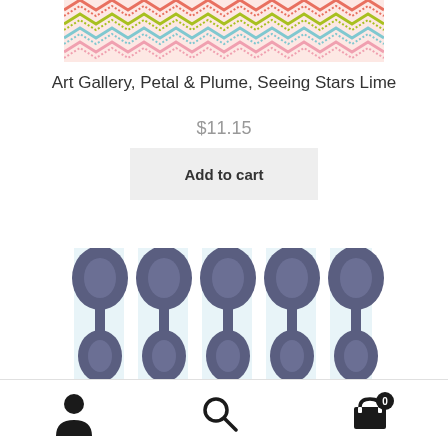[Figure (photo): Top portion of a colorful zigzag/chevron fabric pattern in pink, coral, lime green, light blue, and white]
Art Gallery, Petal & Plume, Seeing Stars Lime
$11.15
Add to cart
[Figure (photo): Fabric pattern with dark blue/slate floral and botanical motifs on a light blue and white background, arranged in a repeating grid pattern]
[Figure (infographic): Bottom navigation bar with person/account icon, search icon, and shopping cart icon with badge showing 0]